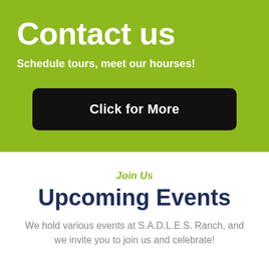Contact us
Schedule tours, meet our hourses!
Click for More
Join Us
Upcoming Events
We hold various events at S.A.D.L.E.S. Ranch, and we invite you to join us and celebrate!